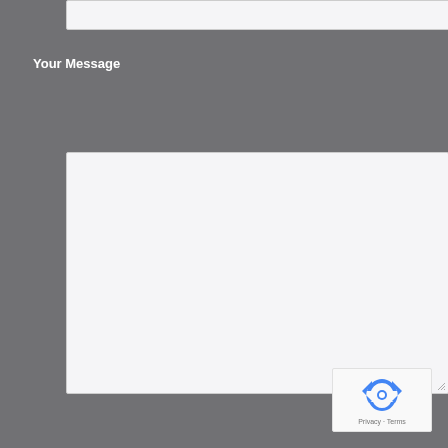[Figure (screenshot): Empty text input box at the top of a contact form]
Your Message
[Figure (screenshot): Large empty textarea for message input with resize handle]
Send
[Figure (logo): reCAPTCHA badge with recycle-arrow logo and Privacy - Terms text]